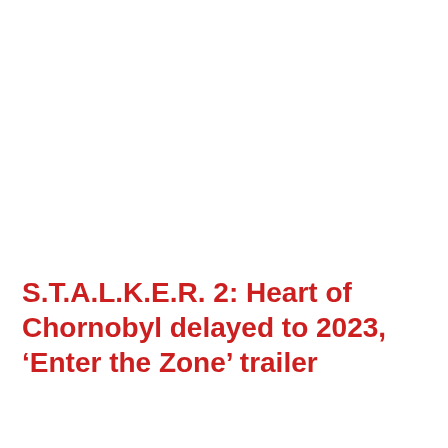S.T.A.L.K.E.R. 2: Heart of Chornobyl delayed to 2023, ‘Enter the Zone’ trailer